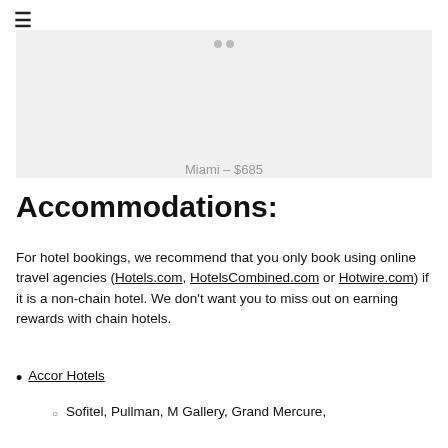[Figure (photo): Travel destination photo placeholder showing Miami with price caption]
Miami – $685
Accommodations:
For hotel bookings, we recommend that you only book using online travel agencies (Hotels.com, HotelsCombined.com or Hotwire.com) if it is a non-chain hotel. We don't want you to miss out on earning rewards with chain hotels.
Accor Hotels
Sofitel, Pullman, M Gallery, Grand Mercure,